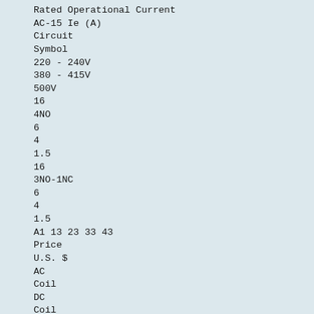Rated Operational Current
AC-15 Ie (A)
Circuit
Symbol
220 - 240V
380 - 415V
500V
16
4NO
6
4
1.5
16
3NO-1NC
6
4
1.5
A1 13 23 33 43
Price
U.S. $
AC
Coil
DC
Coil
A2 14 24 34 44
A1 13 21 33 43
A2 14 22 34 44
16
2NO-2NC
6
4
1.5
A1 13 21 31 43